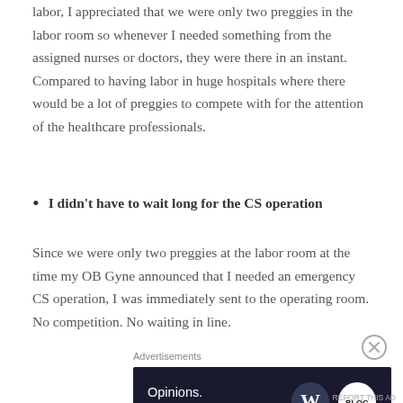labor, I appreciated that we were only two preggies in the labor room so whenever I needed something from the assigned nurses or doctors, they were there in an instant.  Compared to having labor in huge hospitals where there would be a lot of preggies to compete with for the attention of the healthcare professionals.
I didn't have to wait long for the CS operation
Since we were only two preggies at the labor room at the time my OB Gyne announced that I needed an emergency CS operation, I was immediately sent to the operating room.  No competition. No waiting in line.
[Figure (infographic): Advertisement banner with dark navy background reading 'Opinions. We all have them!' with WordPress logo and another circular logo on the right.]